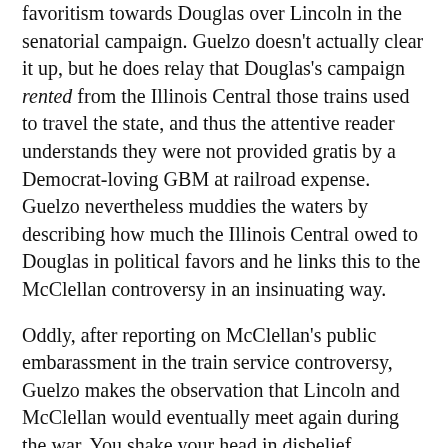favoritism towards Douglas over Lincoln in the senatorial campaign. Guelzo doesn't actually clear it up, but he does relay that Douglas's campaign rented from the Illinois Central those trains used to travel the state, and thus the attentive reader understands they were not provided gratis by a Democrat-loving GBM at railroad expense. Guelzo nevertheless muddies the waters by describing how much the Illinois Central owed to Douglas in political favors and he links this to the McClellan controversy in an insinuating way.
Oddly, after reporting on McClellan's public embarassment in the train service controversy, Guelzo makes the observation that Lincoln and McClellan would eventually meet again during the war. You shake your head in disbelief.
This is the same railroad superintendent and his corporate lawyer who shared the same beds traveling to Illinois county courts endlessly on railroad land business. Does that information need to be taught to Lincoln scholars?
This "meet again," coming after displays of bad quoting, overcompression, and non-citing, makes you wonder how